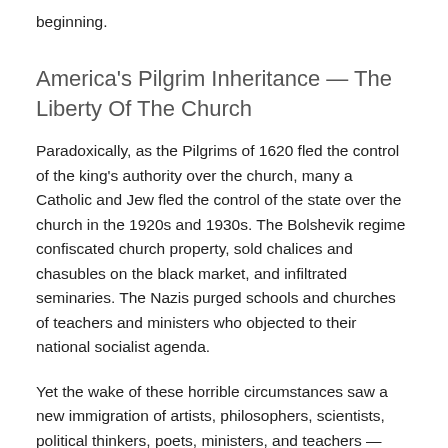beginning.
America's Pilgrim Inheritance — The Liberty Of The Church
Paradoxically, as the Pilgrims of 1620 fled the control of the king's authority over the church, many a Catholic and Jew fled the control of the state over the church in the 1920s and 1930s. The Bolshevik regime confiscated church property, sold chalices and chasubles on the black market, and infiltrated seminaries. The Nazis purged schools and churches of teachers and ministers who objected to their national socialist agenda.
Yet the wake of these horrible circumstances saw a new immigration of artists, philosophers, scientists, political thinkers, poets, ministers, and teachers — Jacques and Raissa Maritain, Albert Einstein, Paul Tillich, Martin Buber,